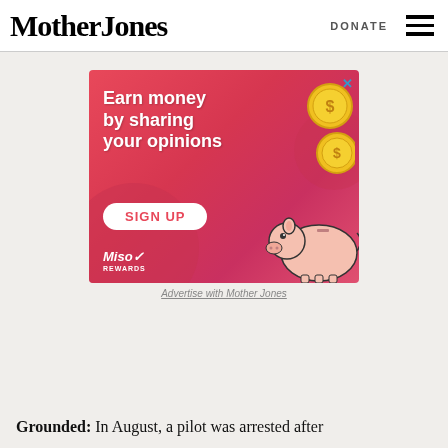Mother Jones | DONATE
[Figure (illustration): Advertisement banner with pink/red background showing 'Earn money by sharing your opinions' text, gold coins, a piggy bank illustration, a SIGN UP button, and Miso Rewards logo.]
Advertise with Mother Jones
Grounded: In August, a pilot was arrested after